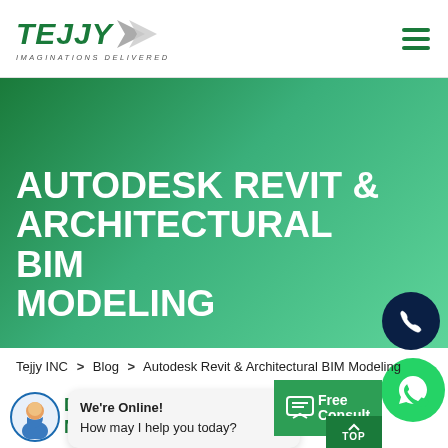[Figure (logo): Tejjy Inc logo with green italic text 'TEJJY' with arrow graphic and tagline 'IMAGINATIONS DELIVERED']
AUTODESK REVIT & ARCHITECTURAL BIM MODELING
Tejjy INC > Blog > Autodesk Revit & Architectural BIM Modeling
[Figure (infographic): Phone call button (dark navy circle with phone icon), WhatsApp button (green circle with WhatsApp icon), Free Consult button (green rectangle), TOP button]
We're Online! How may I help you today?